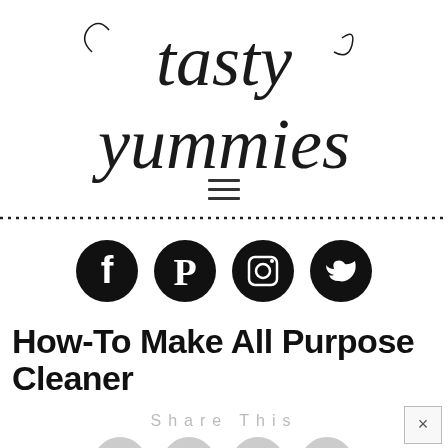[Figure (logo): Tasty Yummies blog logo in cursive/script font, two lines: 'tasty' and 'yummies']
[Figure (infographic): Hamburger menu icon (three horizontal lines)]
[Figure (infographic): Dotted horizontal border line]
[Figure (infographic): Four social media icons in black circles: Facebook, Pinterest, Instagram, Twitter]
How-To Make All Purpose Cleaner
Share This
[Figure (infographic): Partial share icons at bottom, partially cropped, with a close (x) button overlay]